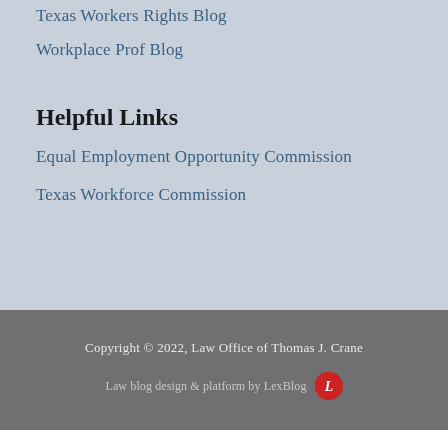Texas Workers Rights Blog
Workplace Prof Blog
Helpful Links
Equal Employment Opportunity Commission
Texas Workforce Commission
Copyright © 2022, Law Office of Thomas J. Crane
Law blog design & platform by LexBlog
[Figure (logo): Law Office circular seal/logo with decorative letter, partial view at bottom of page]